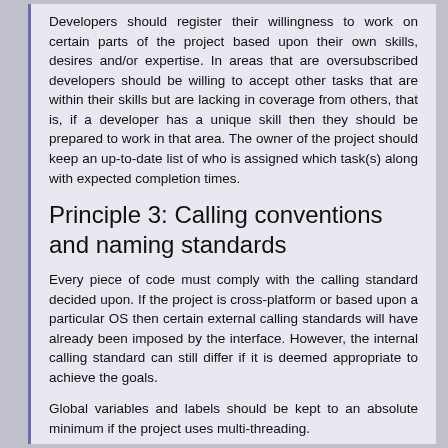Developers should register their willingness to work on certain parts of the project based upon their own skills, desires and/or expertise. In areas that are oversubscribed developers should be willing to accept other tasks that are within their skills but are lacking in coverage from others, that is, if a developer has a unique skill then they should be prepared to work in that area. The owner of the project should keep an up-to-date list of who is assigned which task(s) along with expected completion times.
Principle 3: Calling conventions and naming standards
Every piece of code must comply with the calling standard decided upon. If the project is cross-platform or based upon a particular OS then certain external calling standards will have already been imposed by the interface. However, the internal calling standard can still differ if it is deemed appropriate to achieve the goals.
Global variables and labels should be kept to an absolute minimum if the project uses multi-threading.
Individual names of function should ideally be prefixed with an all-uppercase common string that is unique to each module. Using the module filename (without the extension) name as a prefix is desirable where appropriate.
Some suggestions.